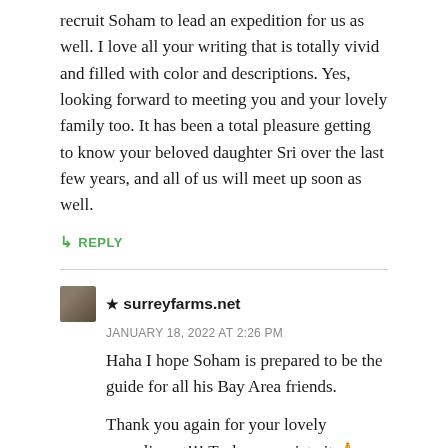recruit Soham to lead an expedition for us as well. I love all your writing that is totally vivid and filled with color and descriptions. Yes, looking forward to meeting you and your lovely family too. It has been a total pleasure getting to know your beloved daughter Sri over the last few years, and all of us will meet up soon as well.
↳ REPLY
★ surreyfarms.net
JANUARY 18, 2022 AT 2:26 PM
Haha I hope Soham is prepared to be the guide for all his Bay Area friends.
Thank you again for your lovely compliment!!! Truly appreciate it.🙏 Looking forward to meeting you all soon.